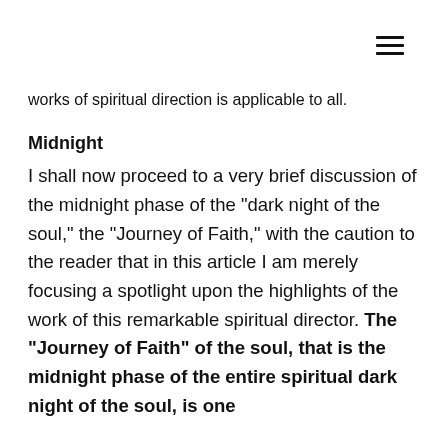≡
works of spiritual direction is applicable to all.
Midnight
I shall now proceed to a very brief discussion of the midnight phase of the "dark night of the soul," the "Journey of Faith," with the caution to the reader that in this article I am merely focusing a spotlight upon the highlights of the work of this remarkable spiritual director. The "Journey of Faith" of the soul, that is the midnight phase of the entire spiritual dark night of the soul, is one